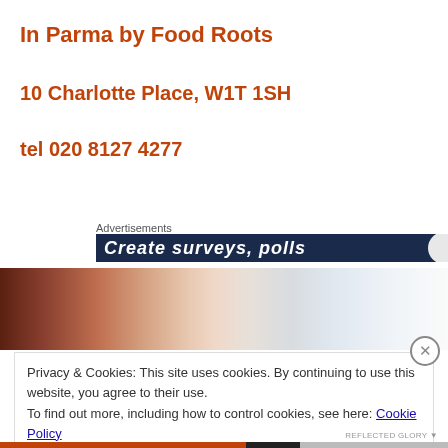In Parma by Food Roots
10 Charlotte Place, W1T 1SH
tel 020 8127 4277
Advertisements
[Figure (screenshot): Dark blue advertisement banner with white italic text 'Create surveys, polls' and a circular element on the right]
[Figure (photo): Partial photo showing food items on a surface with brick wall background]
Privacy & Cookies: This site uses cookies. By continuing to use this website, you agree to their use.
To find out more, including how to control cookies, see here: Cookie Policy